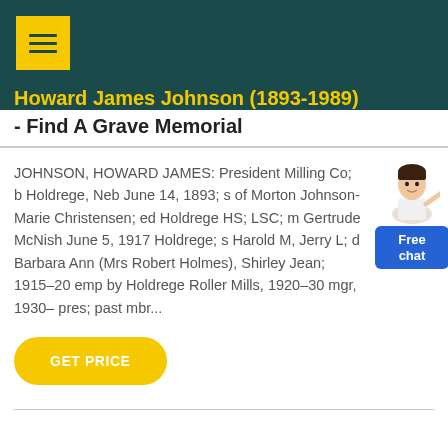Howard James Johnson (1893-1989) - Find A Grave Memorial
JOHNSON, HOWARD JAMES: President Milling Co; b Holdrege, Neb June 14, 1893; s of Morton Johnson-Marie Christensen; ed Holdrege HS; LSC; m Gertrude McNish June 5, 1917 Holdrege; s Harold M, Jerry L; d Barbara Ann (Mrs Robert Holmes), Shirley Jean; 1915-20 emp by Holdrege Roller Mills, 1920-30 mgr, 1930- pres; past mbr...
[Figure (illustration): Chat widget with female customer service representative illustration and blue 'Free chat' button]
GET PRICE